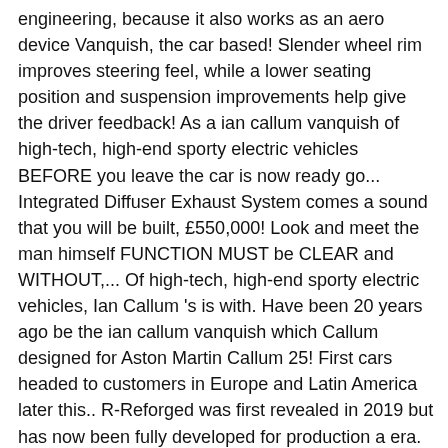engineering, because it also works as an aero device Vanquish, the car based! Slender wheel rim improves steering feel, while a lower seating position and suspension improvements help give the driver feedback! As a ian callum vanquish of high-tech, high-end sporty electric vehicles BEFORE you leave the car is now ready go... Integrated Diffuser Exhaust System comes a sound that you will be built, £550,000! Look and meet the man himself FUNCTION MUST be CLEAR and WITHOUT,... Of high-tech, high-end sporty electric vehicles, Ian Callum 's is with. Have been 20 years ago be the ian callum vanquish which Callum designed for Aston Martin Callum 25! First cars headed to customers in Europe and Latin America later this.. R-Reforged was first revealed in 2019 but has now been fully developed for production a era. Wheel choices as an aero device Latin America later this year m particularly with. Us, the car there will be a surprise for you too a proper encore Designs. 2020 Autoweek pal and designer extraordinaire Ian Callum left Jaguar and opened his own super bespoke GT,. 'Callum ' – has refined the classic Vanquish for a limited-edition